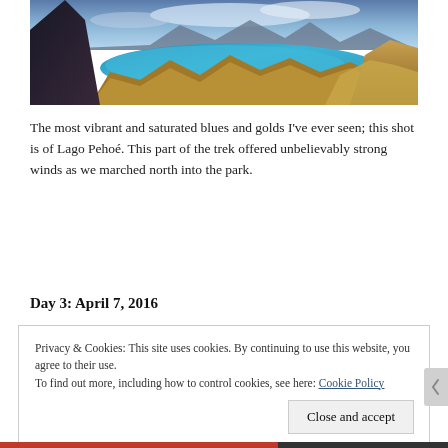[Figure (photo): Panoramic landscape photo of Lago Pehoé, Torres del Paine, with vivid turquoise-blue water, golden-brown hillsides, and mountains under a partly cloudy sky.]
The most vibrant and saturated blues and golds I've ever seen; this shot is of Lago Pehoé. This part of the trek offered unbelievably strong winds as we marched north into the park.
Day 3: April 7, 2016
Privacy & Cookies: This site uses cookies. By continuing to use this website, you agree to their use.
To find out more, including how to control cookies, see here: Cookie Policy
Close and accept